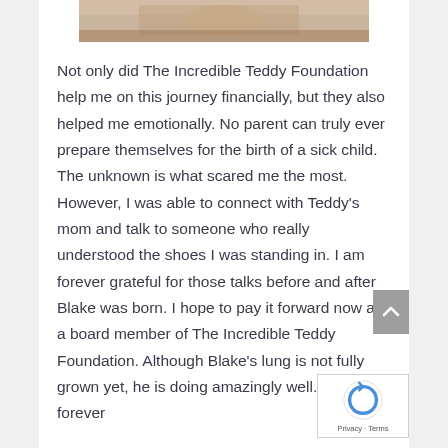[Figure (photo): Partial view of a baby photo at the top of the page]
Not only did The Incredible Teddy Foundation help me on this journey financially, but they also helped me emotionally. No parent can truly ever prepare themselves for the birth of a sick child. The unknown is what scared me the most. However, I was able to connect with Teddy's mom and talk to someone who really understood the shoes I was standing in. I am forever grateful for those talks before and after Blake was born. I hope to pay it forward now as a board member of The Incredible Teddy Foundation. Although Blake's lung is not fully grown yet, he is doing amazingly well. I am forever